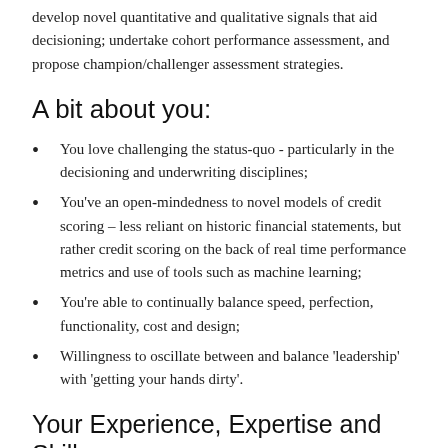develop novel quantitative and qualitative signals that aid decisioning; undertake cohort performance assessment, and propose champion/challenger assessment strategies.
A bit about you:
You love challenging the status-quo - particularly in the decisioning and underwriting disciplines;
You've an open-mindedness to novel models of credit scoring – less reliant on historic financial statements, but rather credit scoring on the back of real time performance metrics and use of tools such as machine learning;
You're able to continually balance speed, perfection, functionality, cost and design;
Willingness to oscillate between and balance 'leadership' with 'getting your hands dirty'.
Your Experience, Expertise and Skills: